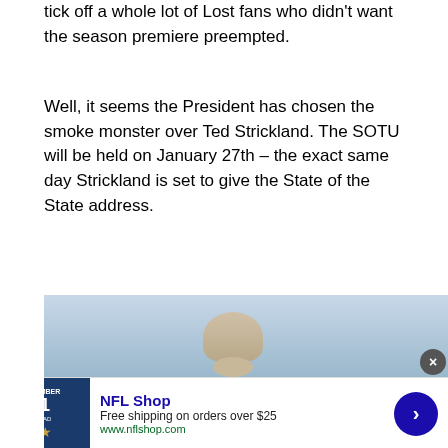tick off a whole lot of Lost fans who didn't want the season premiere preempted.
Well, it seems the President has chosen the smoke monster over Ted Strickland. The SOTU will be held on January 27th – the exact same day Strickland is set to give the State of the State address.
Oops.
Massachusett   News Reports   Searches   Connected   Air   Archiv   infolinks
[Figure (photo): Advertisement banner: NFL Shop ad with person's head visible, jersey image, close button, NFL Shop title, description and arrow button]